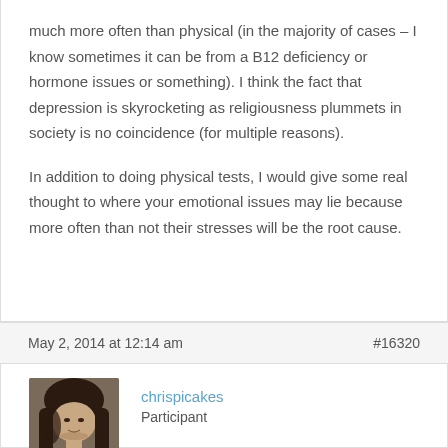much more often than physical (in the majority of cases – I know sometimes it can be from a B12 deficiency or hormone issues or something). I think the fact that depression is skyrocketing as religiousness plummets in society is no coincidence (for multiple reasons).
In addition to doing physical tests, I would give some real thought to where your emotional issues may lie because more often than not their stresses will be the root cause.
May 2, 2014 at 12:14 am
#16320
[Figure (photo): Avatar photo of user chrispicakes, a person with long dark hair]
chrispicakes
Participant
Lots of meditation.